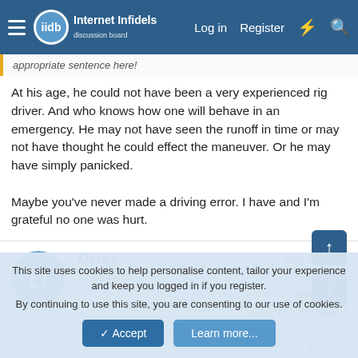Internet Infidels — Log in | Register
appropriate sentence here!
At his age, he could not have been a very experienced rig driver. And who knows how one will behave in an emergency. He may not have seen the runoff in time or may not have thought he could effect the maneuver. Or he may have simply panicked.

Maybe you've never made a driving error. I have and I'm grateful no one was hurt.
Derec
Contributor
Joined: Aug 19, 2002
Messages: 22,129
Location: Atlanta, GA
Basic Beliefs: atheist
Dec 24, 2021  #42
This site uses cookies to help personalise content, tailor your experience and keep you logged in if you register.
By continuing to use this site, you are consenting to our use of cookies.